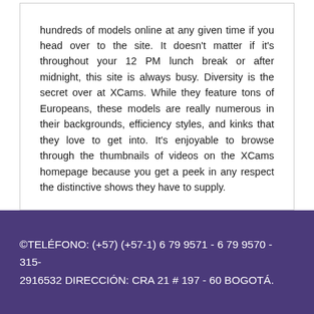hundreds of models online at any given time if you head over to the site. It doesn't matter if it's throughout your 12 PM lunch break or after midnight, this site is always busy. Diversity is the secret over at XCams. While they feature tons of Europeans, these models are really numerous in their backgrounds, efficiency styles, and kinks that they love to get into. It's enjoyable to browse through the thumbnails of videos on the XCams homepage because you get a peek in any respect the distinctive shows they have to supply.
©TELÉFONO: (+57) (+57-1) 6 79 9571 - 6 79 9570 - 315-2916532 DIRECCIÓN: CRA 21 # 197 - 60 BOGOTÁ.